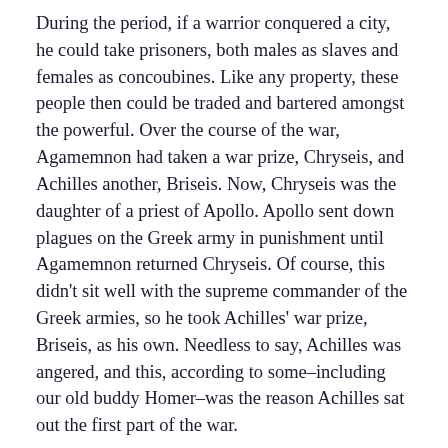During the period, if a warrior conquered a city, he could take prisoners, both males as slaves and females as concoubines. Like any property, these people then could be traded and bartered amongst the powerful. Over the course of the war, Agamemnon had taken a war prize, Chryseis, and Achilles another, Briseis. Now, Chryseis was the daughter of a priest of Apollo. Apollo sent down plagues on the Greek army in punishment until Agamemnon returned Chryseis. Of course, this didn't sit well with the supreme commander of the Greek armies, so he took Achilles' war prize, Briseis, as his own. Needless to say, Achilles was angered, and this, according to some–including our old buddy Homer–was the reason Achilles sat out the first part of the war.
While Apollo is referenced in Troilus and Cressida, neither he nor any other god or goddess plays an active role in the actions of the narrative (of course, one has to